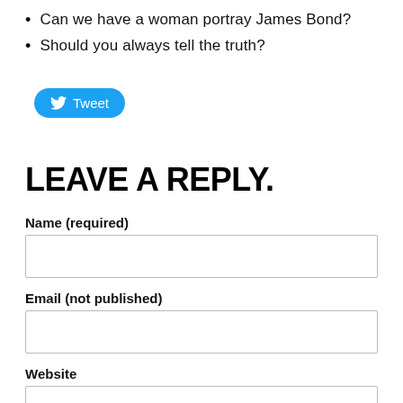Can we have a woman portray James Bond?
Should you always tell the truth?
[Figure (other): Twitter Tweet button with bird logo]
LEAVE A REPLY.
Name (required)
Email (not published)
Website